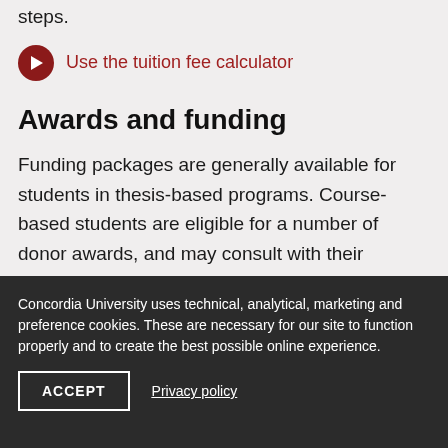steps.
Use the tuition fee calculator
Awards and funding
Funding packages are generally available for students in thesis-based programs. Course-based students are eligible for a number of donor awards, and may consult with their department for program-specific opportunities.
Concordia University uses technical, analytical, marketing and preference cookies. These are necessary for our site to function properly and to create the best possible online experience.
ACCEPT   Privacy policy